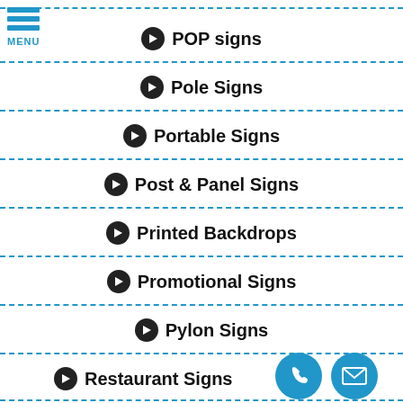POP signs
Pole Signs
Portable Signs
Post & Panel Signs
Printed Backdrops
Promotional Signs
Pylon Signs
Restaurant Signs